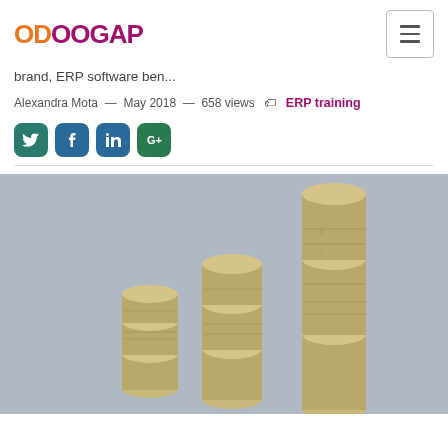OdooGAP logo and navigation
brand, ERP software ben...
Alexandra Mota — May 2018 — 658 views 🏷 ERP training
[Figure (illustration): Social media sharing buttons: Twitter, Facebook, LinkedIn, Google+]
[Figure (photo): Stacks of gold/bronze coins arranged in ascending height from left to right, on a grey background, suggesting financial growth]